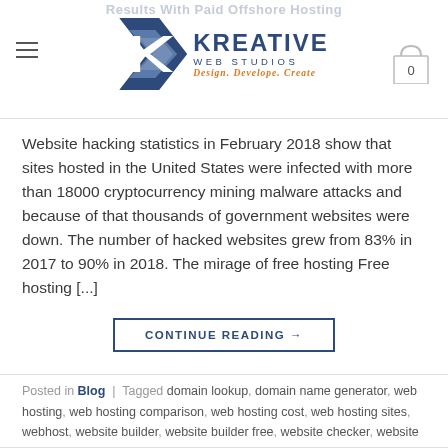Results With Paid Offshore Hosting — Kreative Web Studios
Website hacking statistics in February 2018 show that sites hosted in the United States were infected with more than 18000 cryptocurrency mining malware attacks and because of that thousands of government websites were down. The number of hacked websites grew from 83% in 2017 to 90% in 2018. The mirage of free hosting Free hosting [...]
CONTINUE READING →
Posted in Blog | Tagged domain lookup, domain name generator, web hosting, web hosting comparison, web hosting cost, web hosting sites, webhost, website builder, website builder free, website checker, website design, website hosting, website maker, website templates